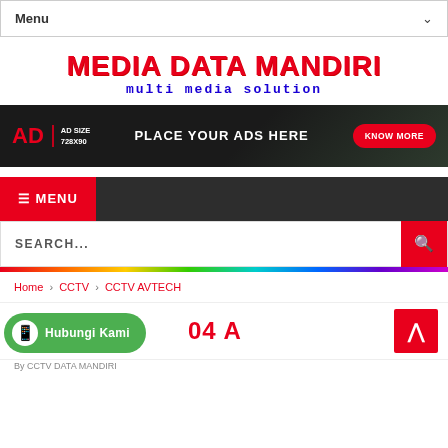Menu
MEDIA DATA MANDIRI
multi media solution
[Figure (infographic): Advertisement banner with dark background, red AD label, AD SIZE 728X90 text, PLACE YOUR ADS HERE text, and KNOW MORE red button]
≡ MENU
SEARCH...
Home › CCTV › CCTV AVTECH
[Figure (other): Green Hubungi Kami WhatsApp button]
04 A